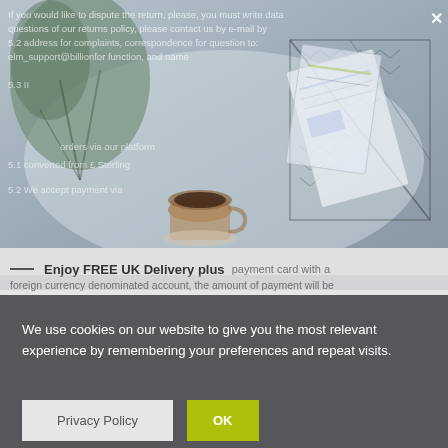[Figure (photo): Background photo of a plant, documents/cards in a wire basket, and a coffee cup on a desk, rendered in muted blue-grey tones. Overlaid with faded white text from a legal/policy document about returns, payment cards, foreign currency, and a close (X) button in the top right.]
— Enjoy FREE UK Delivery plus payment card with a foreign currency denominated account, the amount of payment will be
We use cookies on our website to give you the most relevant experience by remembering your preferences and repeat visits.
Privacy Policy
OK